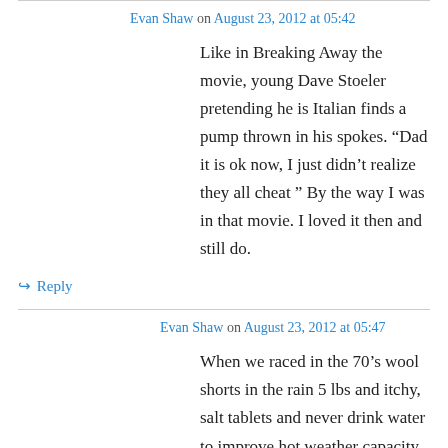Evan Shaw on August 23, 2012 at 05:42
Like in Breaking Away the movie, young Dave Stoeler pretending he is Italian finds a pump thrown in his spokes. “Dad it is ok now, I just didn’t realize they all cheat ” By the way I was in that movie. I loved it then and still do.
↪ Reply
Evan Shaw on August 23, 2012 at 05:47
When we raced in the 70’s wool shorts in the rain 5 lbs and itchy, salt tablets and never drink water to improve hot weather capacity raw steak eaten at start line or stuffed in shorts for boils. No aero anything. And no whining no excuses